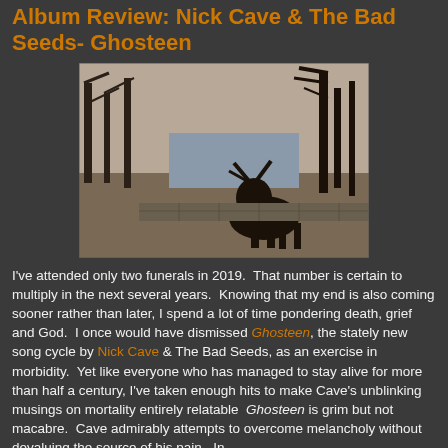Album Review: Nick Cave & The Bad Seeds- Ghosteen
[Figure (photo): Sepia-toned outdoor photo showing a dark animal (possibly a deer or donkey) in the foreground with bare winter trees and a pond/river in the background]
I've attended only two funerals in 2019.  That number is certain to multiply in the next several years.  Knowing that my end is also coming sooner rather than later, I spend a lot of time pondering death, grief and God.  I once would have dismissed Ghosteen, the stately new song cycle by Nick Cave & The Bad Seeds, as an exercise in morbidity.  Yet like everyone who has managed to stay alive for more than half a century, I've taken enough hits to make Cave's unblinking musings on mortality entirely relatable  Ghosteen is grim but not macabre.  Cave admirably attempts to overcome melancholy without devaluing the source of his pain.  In